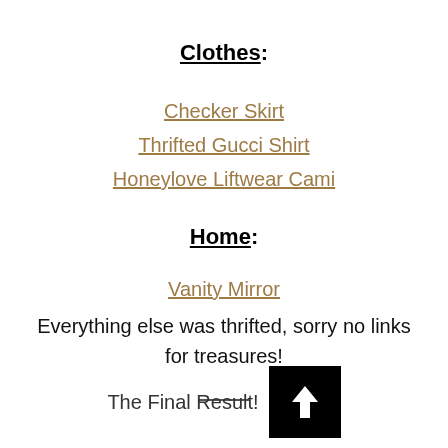Clothes:
Checker Skirt
Thrifted Gucci Shirt
Honeylove Liftwear Cami
Home:
Vanity Mirror
Everything else was thrifted, sorry no links for treasures!
The Final Result!